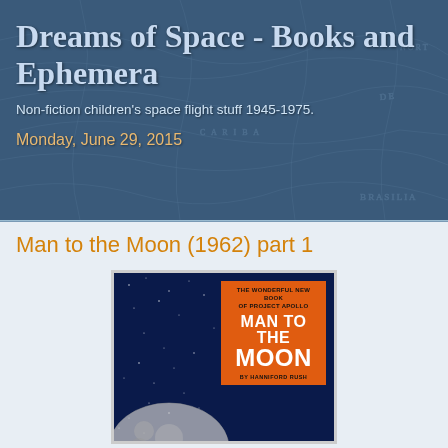Dreams of Space - Books and Ephemera
Non-fiction children's space flight stuff 1945-1975.
Monday, June 29, 2015
Man to the Moon (1962) part 1
[Figure (photo): Book cover of 'Man to the Moon' by Hanniford Rush. Blue background with stars, orange rectangle label reading 'THE WONDERFUL NEW BOOK OF PROJECT APOLLO / MAN TO THE MOON / BY HANNIFORD RUSH'. A moon or Earth is visible at the bottom of the cover.]